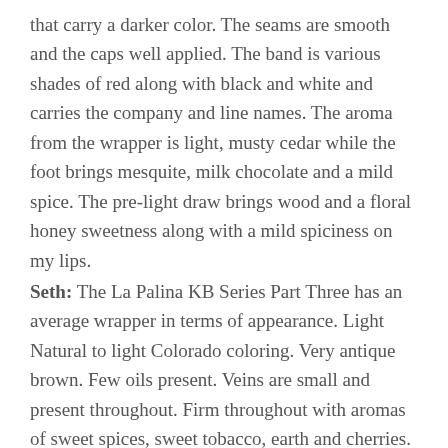that carry a darker color. The seams are smooth and the caps well applied. The band is various shades of red along with black and white and carries the company and line names. The aroma from the wrapper is light, musty cedar while the foot brings mesquite, milk chocolate and a mild spice. The pre-light draw brings wood and a floral honey sweetness along with a mild spiciness on my lips.
Seth: The La Palina KB Series Part Three has an average wrapper in terms of appearance. Light Natural to light Colorado coloring. Very antique brown. Few oils present. Veins are small and present throughout. Firm throughout with aromas of sweet spices, sweet tobacco, earth and cherries.
John: The La Palina KB Series Part Three comes in cellophane, and has a UPC sticker with the code high enough on it so it doesn't rip in half when the cellophane is opened.